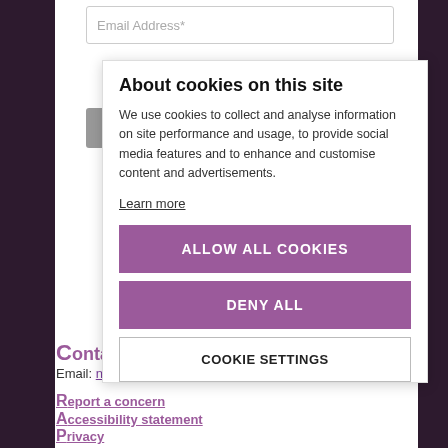Email Address*
Keep me updated →
About cookies on this site
We use cookies to collect and analyse information on site performance and usage, to provide social media features and to enhance and customise content and advertisements.
Learn more
ALLOW ALL COOKIES
DENY ALL
COOKIE SETTINGS
Contact us
Email: nsabchair@norfolk.gov.uk
Report a concern
Accessibility statement
Privacy
Address
Norfolk Safeguarding Adult Social Services
County Hall
Martineau Lane
Norwich NR1 2DH